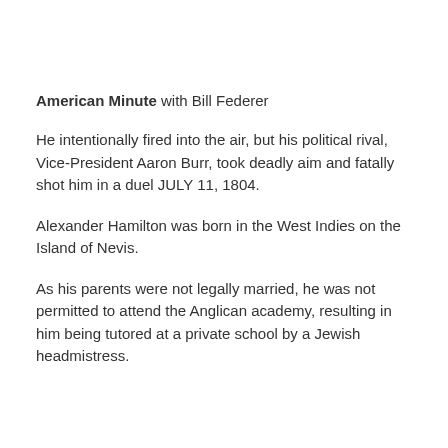American Minute with Bill Federer
He intentionally fired into the air, but his political rival, Vice-President Aaron Burr, took deadly aim and fatally shot him in a duel JULY 11, 1804.
Alexander Hamilton was born in the West Indies on the Island of Nevis.
As his parents were not legally married, he was not permitted to attend the Anglican academy, resulting in him being tutored at a private school by a Jewish headmistress.